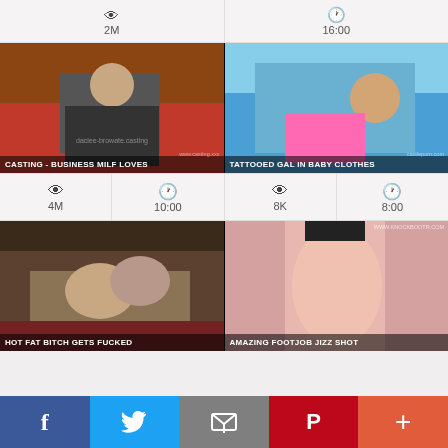[Figure (screenshot): Top stats row showing 2M views and 16:00 duration]
[Figure (screenshot): Thumbnail: CASTING - BUSINESS MILF LOVES]
[Figure (screenshot): Thumbnail: TATTOOED GAL IN BABY CLOTHES]
4M views, 10:00 duration / 8K views, 8:00 duration
[Figure (screenshot): Thumbnail: HOT FAT BITCH GETS FUCKED]
[Figure (screenshot): Thumbnail: AMAZING FOOTJOB JIZZ SHOT]
f  Twitter  mail  P  +